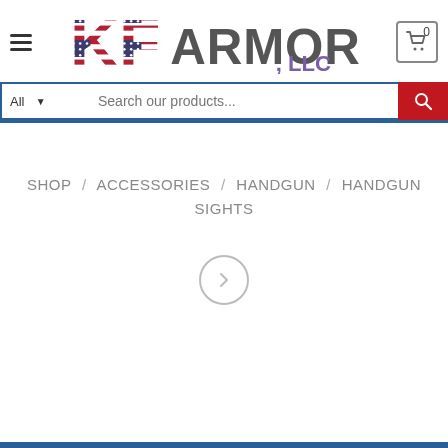[Figure (logo): KF Armory, LLC logo with American flag texture on letters]
[Figure (screenshot): Search bar with All dropdown, search input placeholder 'Search our products...', and red search button]
SHOP / ACCESSORIES / HANDGUN / HANDGUN SIGHTS
[Figure (other): Right arrow navigation button inside a circle]